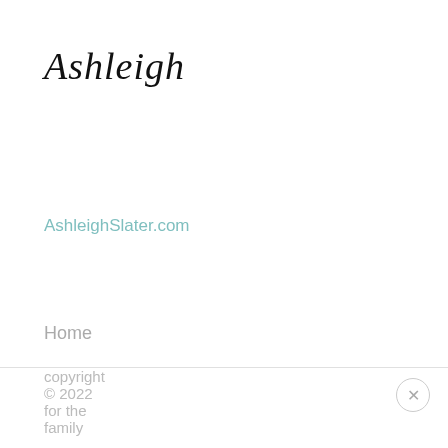Ashleigh
AshleighSlater.com
Home
copyright © 2022 for the family